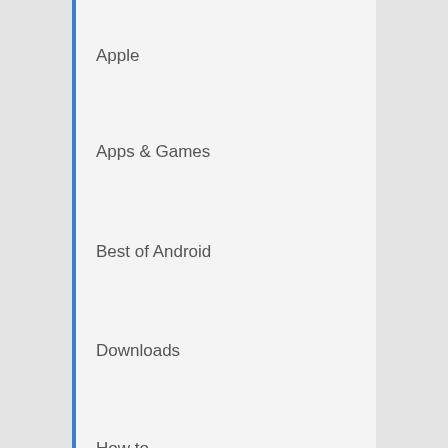Apple
Apps & Games
Best of Android
Downloads
How to
Internet
iOS
Issues & Fixes
Mac OS X
News